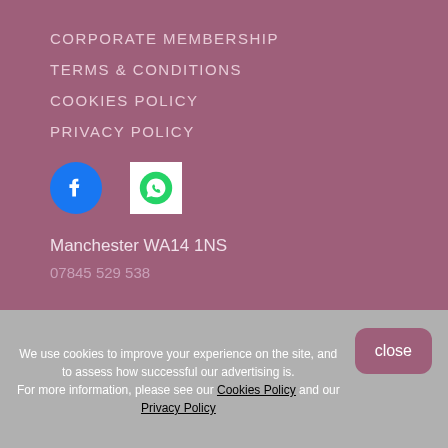CORPORATE MEMBERSHIP
TERMS & CONDITIONS
COOKIES POLICY
PRIVACY POLICY
[Figure (logo): Facebook logo icon (blue circle with white F)]
[Figure (logo): WhatsApp logo icon (green circle with white phone/chat icon on white square background)]
Manchester WA14 1NS
07845 529 538
We use cookies to improve your experience on the site, and to assess how successful our advertising is. For more information, please see our Cookies Policy and our Privacy Policy